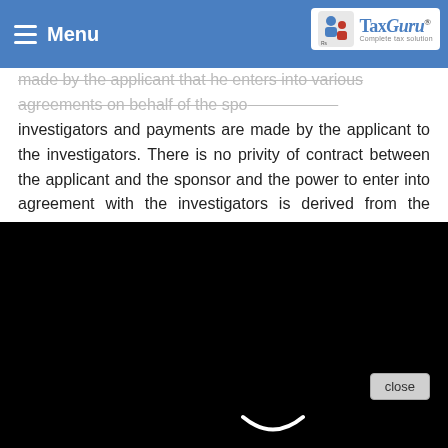Menu | TaxGuru - Complete tax solution
made by the applicant that he enters into various agreements on behalf of the sponsor with the investigators and payments are made by the applicant to the investigators. There is no privity of contract between the applicant and the sponsor and the power to enter into agreement with the investigators is derived from the agreement between the applicant and its foreign affiliate which [power] comes [further] from the agreement between the [sponsor] and the foreign [affiliate].
[Figure (screenshot): Black video player modal overlay with a loading spinner (smiley arc) and a close X button in the upper right corner.]
...the applicant has entered [into a] Clinical Trial with the Investigators and it is clearly stated in the agreement that the applicant is entering the agreement on behalf of the Sponsor. It is clearly stated in the agreement that the Sponsor has [appointed] the CRO to manage the Clinical Trial...